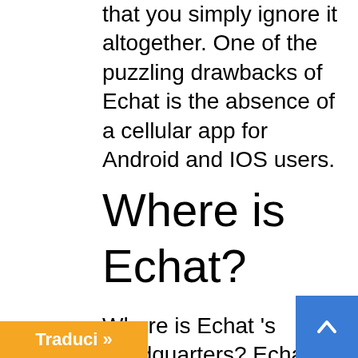that you simply ignore it altogether. One of the puzzling drawbacks of Echat is the absence of a cellular app for Android and IOS users.
Where is Echat?
Where is Echat 's headquarters? Echat is located in Hong Kong, Hong Kong Island, Hong